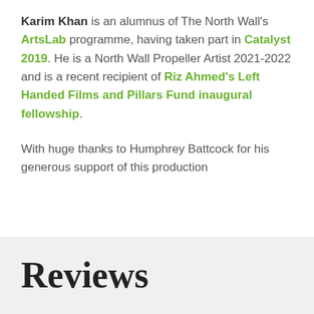Karim Khan is an alumnus of The North Wall's ArtsLab programme, having taken part in Catalyst 2019. He is a North Wall Propeller Artist 2021-2022 and is a recent recipient of Riz Ahmed's Left Handed Films and Pillars Fund inaugural fellowship.
With huge thanks to Humphrey Battcock for his generous support of this production
Reviews